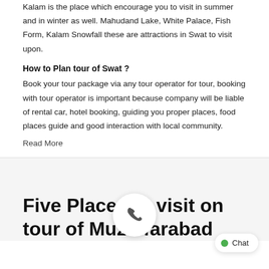Kalam is the place which encourage you to visit in summer and in winter as well. Mahudand Lake, White Palace, Fish Form, Kalam Snowfall these are attractions in Swat to visit upon.
How to Plan tour of Swat ?
Book your tour package via any tour operator for tour, booking with tour operator is important because company will be liable of rental car, hotel booking, guiding you proper places, food places guide and good interaction with local community.
Read More
Five Places to visit on tour of Muzaffarabad